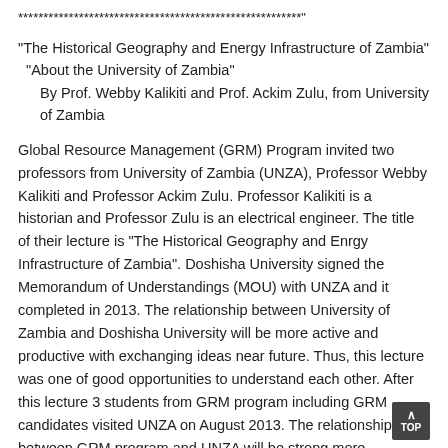********************************************************"
"The Historical Geography and Energy Infrastructure of Zambia"
 "About the University of Zambia"
   By Prof. Webby Kalikiti and Prof. Ackim Zulu, from University of Zambia
Global Resource Management (GRM) Program invited two professors from University of Zambia (UNZA), Professor Webby Kalikiti and Professor Ackim Zulu. Professor Kalikiti is a historian and Professor Zulu is an electrical engineer. The title of their lecture is "The Historical Geography and Enrgy Infrastructure of Zambia". Doshisha University signed the Memorandum of Understandings (MOU) with UNZA and it completed in 2013. The relationship between University of Zambia and Doshisha University will be more active and productive with exchanging ideas near future. Thus, this lecture was one of good opportunities to understand each other. After this lecture 3 students from GRM program including GRM candidates visited UNZA on August 2013. The relationship between GRM program and UNZA will be strong more.
Zambia is well known as one of the large productions of copper in the